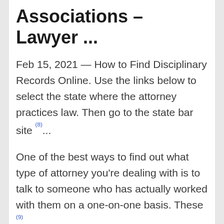Associations – Lawyer ...
Feb 15, 2021 — How to Find Disciplinary Records Online. Use the links below to select the state where the attorney practices law. Then go to the state bar site (8)...
One of the best ways to find out what type of attorney you're dealing with is to talk to someone who has actually worked with them on a one-on-one basis. These (9)...
WHAT IS A JAG LAWYER